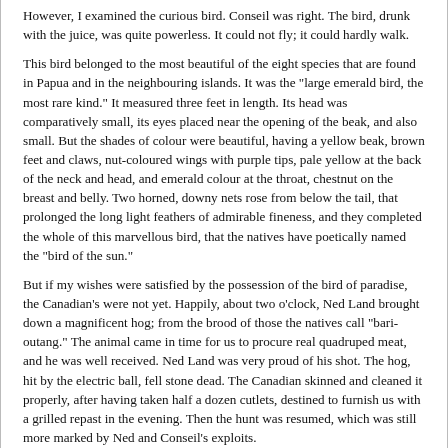However, I examined the curious bird. Conseil was right. The bird, drunk with the juice, was quite powerless. It could not fly; it could hardly walk.
This bird belonged to the most beautiful of the eight species that are found in Papua and in the neighbouring islands. It was the "large emerald bird, the most rare kind." It measured three feet in length. Its head was comparatively small, its eyes placed near the opening of the beak, and also small. But the shades of colour were beautiful, having a yellow beak, brown feet and claws, nut-coloured wings with purple tips, pale yellow at the back of the neck and head, and emerald colour at the throat, chestnut on the breast and belly. Two horned, downy nets rose from below the tail, that prolonged the long light feathers of admirable fineness, and they completed the whole of this marvellous bird, that the natives have poetically named the "bird of the sun."
But if my wishes were satisfied by the possession of the bird of paradise, the Canadian's were not yet. Happily, about two o'clock, Ned Land brought down a magnificent hog; from the brood of those the natives call "bari-outang." The animal came in time for us to procure real quadruped meat, and he was well received. Ned Land was very proud of his shot. The hog, hit by the electric ball, fell stone dead. The Canadian skinned and cleaned it properly, after having taken half a dozen cutlets, destined to furnish us with a grilled repast in the evening. Then the hunt was resumed, which was still more marked by Ned and Conseil's exploits.
Indeed, the two friends, beating the bushes, roused a herd of kangaroos that fled and bounded along on their elastic paws. But these animals did not take to flight so rapidly but what the electric capsule could stop their course.
"Ah, Professor!" cried Ned Land, who was carried away by the delights of the chase, "what excellent game, and stewed, too! What a supply for the Nautilus! Two! three! five down! And to think that we shall eat that flesh, and that the idiots on board shall not have a crumb!"
I think that, in the excess of his joy, the Canadian, if he had not talked so much, would have killed them all. But he contented himself with a single dozen of these interesting marsupians. These animals were small. They were a species of those "kangaroo rabbits" that live habitually in the hollows of trees, and whose speed is extreme; but they are moderately fat, and furnish, at least,